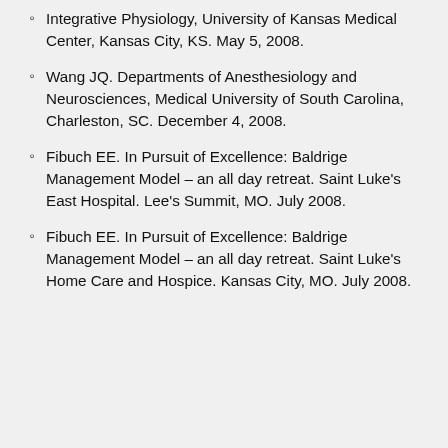Integrative Physiology, University of Kansas Medical Center, Kansas City, KS. May 5, 2008.
Wang JQ. Departments of Anesthesiology and Neurosciences, Medical University of South Carolina, Charleston, SC. December 4, 2008.
Fibuch EE. In Pursuit of Excellence: Baldrige Management Model – an all day retreat. Saint Luke's East Hospital. Lee's Summit, MO. July 2008.
Fibuch EE. In Pursuit of Excellence: Baldrige Management Model – an all day retreat. Saint Luke's Home Care and Hospice. Kansas City, MO. July 2008.